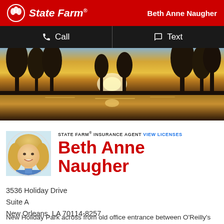State Farm® — Beth Anne Naugher
Call   Text
[Figure (photo): Landscape hero image: sunset over a bayou/swamp with silhouetted cypress trees reflecting in water]
[Figure (photo): Circular headshot of Beth Anne Naugher, a woman with blonde hair and a blue shirt, smiling]
STATE FARM® INSURANCE AGENT  VIEW LICENSES
Beth Anne Naugher
3536 Holiday Drive
Suite A
New Orleans, LA 70114-8257
New Holiday Park across from old office entrance between O'Reilly's Auto Parts and Wing Snack